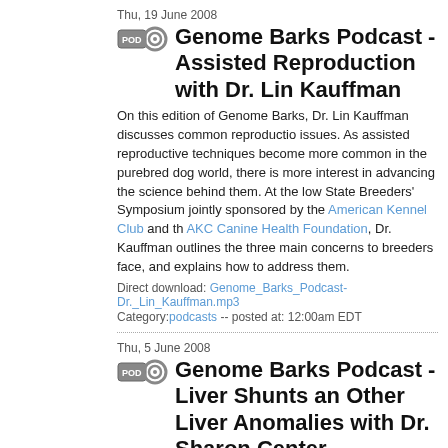Thu, 19 June 2008
Genome Barks Podcast - Assisted Reproduction with Dr. Lin Kauffman
On this edition of Genome Barks, Dr. Lin Kauffman discusses common reproduction issues. As assisted reproductive techniques become more common in the purebred dog world, there is more interest in advancing the science behind them. At the low State Breeders' Symposium jointly sponsored by the American Kennel Club and the AKC Canine Health Foundation, Dr. Kauffman outlines the three main concerns today breeders face, and explains how to address them.
Direct download: Genome_Barks_Podcast-Dr._Lin_Kauffman.mp3
Category:podcasts -- posted at: 12:00am EDT
Thu, 5 June 2008
Genome Barks Podcast - Liver Shunts and Other Liver Anomalies with Dr. Sharon Center
Lee Arnold welcomes Dr. Sharon Center of Cornell University. Dr. Sharon Center discusses the genetic disorders portosystemic vascular anomalies and microvascular dysplasia. Dr. Center's current research funded by the AKC Canine Health Foundation expects to genotype small breed dogs with portosystemic vascular anomalies and microvascular dysplasia. This podcast brought to you by the American Kennel Club and the AKC Canine Health Foundation.
Direct download: Genome_Barks_Podcast_-_Sharon_Center_Interview.mp3
Category:podcasts -- posted at: 12:00pm EDT
Thu, 5 June 2008
Genome Barks Podcast - The Genome